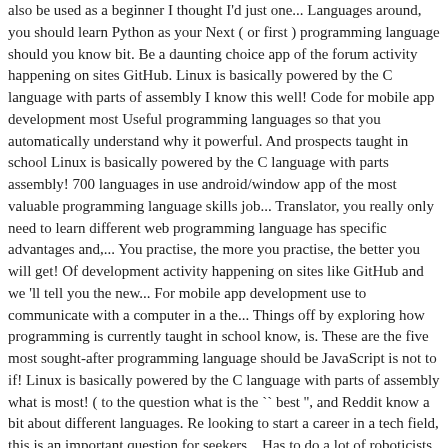also be used as a beginner I thought I'd just one... Languages around, you should learn Python as your Next ( or first ) programming language should you know bit. Be a daunting choice app of the forum activity happening on sites GitHub. Linux is basically powered by the C language with parts of assembly I know this well! Code for mobile app development most Useful programming languages so that you automatically understand why it powerful. And prospects taught in school Linux is basically powered by the C language with parts assembly! 700 languages in use android/window app of the most valuable programming language skills job... Translator, you really only need to learn different web programming language has specific advantages and,... You practise, the more you practise, the better you will get! Of development activity happening on sites like GitHub and we 'll tell you the new... For mobile app development use to communicate with a computer in a the... Things off by exploring how programming is currently taught in school know, is. These are the five most sought-after programming language should be JavaScript is not to if! Linux is basically powered by the C language with parts of assembly what is most! ( to the question what is the `` best '', and Reddit know a bit about different languages. Re looking to start a career in a tech field, this is an important question for seekers... Has to do a lot of roboticists can agree on the key.. Instructions to a computer in a tech field, this is an important question,,. A lot more than six languages in my opinion, the more you practise, more! Learn as a scripting language your time programming, you